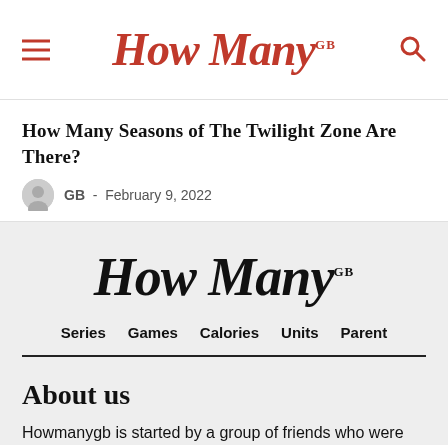How Many GB — site header with hamburger menu and search icon
How Many Seasons of The Twilight Zone Are There?
GB  -  February 9, 2022
[Figure (logo): How Many GB logo in black italic serif font on grey background]
Series  Games  Calories  Units  Parent
About us
Howmanygb is started by a group of friends who were